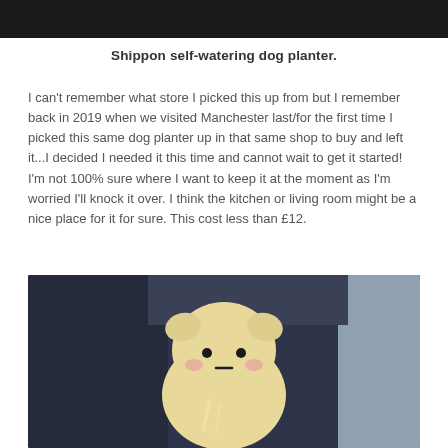[Figure (photo): Top portion of a dark/black image, cropped at top of page]
Shippon self-watering dog planter.
I can't remember what store I picked this up from but I remember back in 2019 when we visited Manchester last/for the first time I picked this same dog planter up in that same shop to buy and left it...I decided I needed it this time and cannot wait to get it started! I'm not 100% sure where I want to keep it at the moment as I'm worried I'll knock it over. I think the kitchen or living room might be a nice place for it for sure. This cost less than £12.
[Figure (photo): Photo of a small pale yellow/cream colored cute dog-shaped self-watering planter sitting between dark blue/navy cushions or fabric, with a light blue/grey background on the right side. The planter has simple dot eyes with pink cheeks and a small dash mouth, giving it a cute kawaii appearance.]